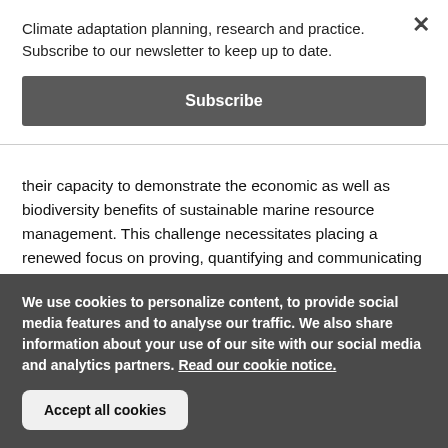Climate adaptation planning, research and practice. Subscribe to our newsletter to keep up to date.
Subscribe
their capacity to demonstrate the economic as well as biodiversity benefits of sustainable marine resource management. This challenge necessitates placing a renewed focus on proving, quantifying and communicating the utilitarian benefits of marine biodiversity. Making this business case will be a fundamental prerequisite to stemming the tide of marine environmental degradation in Madagascar, and tackling the twin
We use cookies to personalize content, to provide social media features and to analyse our traffic. We also share information about your use of our site with our social media and analytics partners. Read our cookie notice.
Accept all cookies